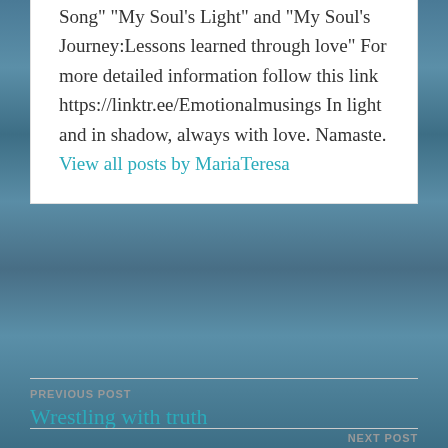Song" "My Soul's Light" and "My Soul's Journey:Lessons learned through love" For more detailed information follow this link https://linktr.ee/Emotionalmusings In light and in shadow, always with love. Namaste. View all posts by MariaTeresa
PREVIOUS POST
Wrestling with truth
NEXT POST
Full moon energy